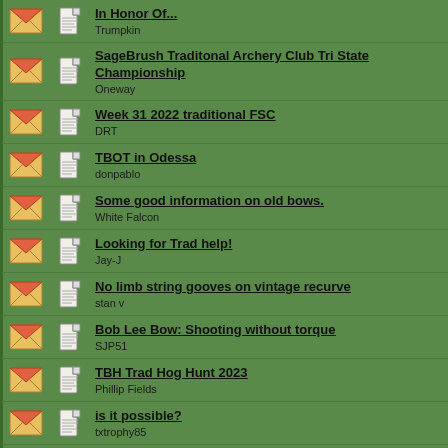In Honor Of...
Trumkin
SageBrush Traditonal Archery Club Tri State Championship
Oneway
Week 31 2022 traditional FSC
DRT
TBOT in Odessa
donpablo
Some good information on old bows.
White Falcon
Looking for Trad help!
Jay-J
No limb string gooves on vintage recurve
stan v
Bob Lee Bow: Shooting without torque
SJP51
TBH Trad Hog Hunt 2023
Phillip Fields
is it possible?
txtrophy85
The joy has gone
SJP51
Traditional Challenge Week 29 First Shot...